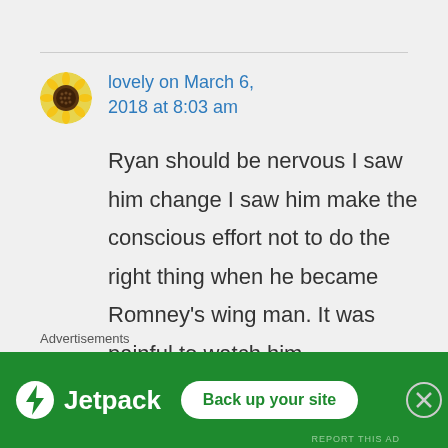lovely on March 6, 2018 at 8:03 am
Ryan should be nervous I saw him change I saw him make the conscious effort not to do the right thing when he became Romney's wing man. It was painful to watch him
Advertisements
[Figure (logo): Jetpack advertisement banner with green background, Jetpack logo on left and 'Back up your site' button on right]